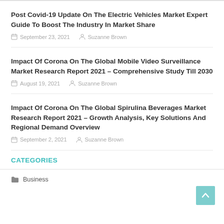Post Covid-19 Update On The Electric Vehicles Market Expert Guide To Boost The Industry In Market Share
September 23, 2021   Suzanne Brown
Impact Of Corona On The Global Mobile Video Surveillance Market Research Report 2021 – Comprehensive Study Till 2030
August 19, 2021   Suzanne Brown
Impact Of Corona On The Global Spirulina Beverages Market Research Report 2021 – Growth Analysis, Key Solutions And Regional Demand Overview
September 2, 2021   Suzanne Brown
CATEGORIES
Business